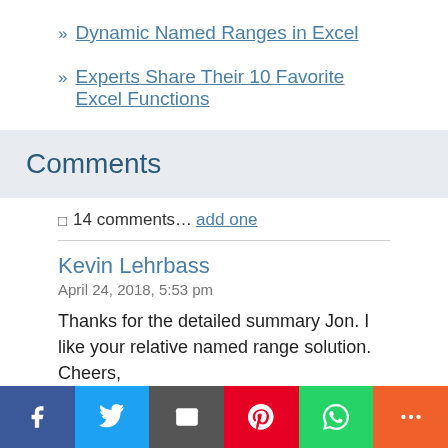» Dynamic Named Ranges in Excel
» Experts Share Their 10 Favorite Excel Functions
Comments
💬 14 comments… add one
Kevin Lehrbass
April 24, 2018, 5:53 pm
Thanks for the detailed summary Jon. I like your relative named range solution.
Cheers,